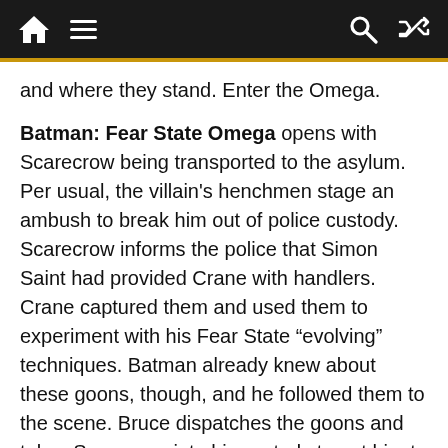Navigation bar with home, menu, search, shuffle icons
and where they stand. Enter the Omega.
Batman: Fear State Omega opens with Scarecrow being transported to the asylum. Per usual, the villain's henchmen stage an ambush to break him out of police custody. Scarecrow informs the police that Simon Saint had provided Crane with handlers. Crane captured them and used them to experiment with his Fear State “evolving” techniques. Batman already knew about these goons, though, and he followed them to the scene. Bruce dispatches the goons and takes Scarecrow into his custody to get him to the Asylum.
Batman acts unusually chatty and chipper compared to his usual brooding self. He permits Crane to wear his mask for some reason, and then